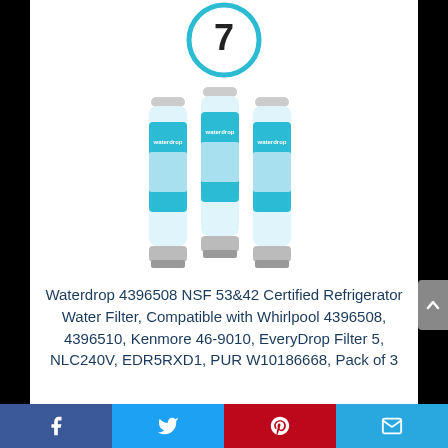[Figure (illustration): Number 7 inside a teal/cyan circle outline at the top of the page]
[Figure (photo): Three Waterdrop refrigerator water filter bottles side by side, blue and white packaging]
Waterdrop 4396508 NSF 53&42 Certified Refrigerator Water Filter, Compatible with Whirlpool 4396508, 4396510, Kenmore 46-9010, EveryDrop Filter 5, NLC240V, EDR5RXD1, PUR W10186668, Pack of 3
By Waterdrop
View Product
Facebook | Twitter | Pinterest | Email